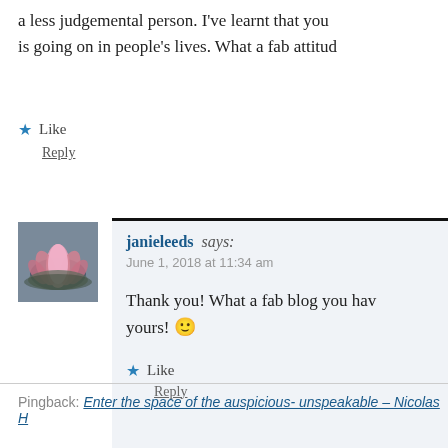a less judgemental person. I've learnt that you is going on in people's lives. What a fab attitud
★ Like
Reply
janieleeds says:
June 1, 2018 at 11:34 am
Thank you! What a fab blog you have yours! 🙂
★ Like
Reply
Pingback: Enter the space of the auspicious- unspeakable – Nicolas H